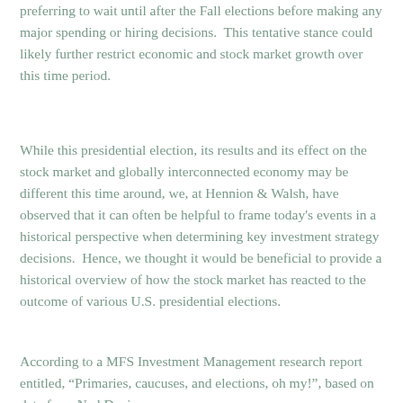preferring to wait until after the Fall elections before making any major spending or hiring decisions.  This tentative stance could likely further restrict economic and stock market growth over this time period.
While this presidential election, its results and its effect on the stock market and globally interconnected economy may be different this time around, we, at Hennion & Walsh, have observed that it can often be helpful to frame today's events in a historical perspective when determining key investment strategy decisions.  Hence, we thought it would be beneficial to provide a historical overview of how the stock market has reacted to the outcome of various U.S. presidential elections.
According to a MFS Investment Management research report entitled, “Primaries, caucuses, and elections, oh my!”, based on data from Ned Davis